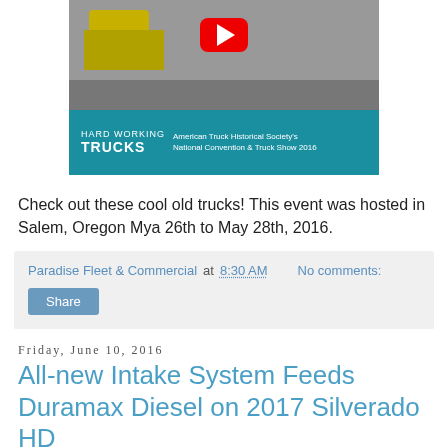[Figure (screenshot): YouTube video thumbnail for Hard Working Trucks - American Truck Historical Society's National Convention & Truck Show 2016, with teal banner and YouTube play button]
Check out these cool old trucks! This event was hosted in Salem, Oregon Mya 26th to May 28th, 2016.
Paradise Fleet & Commercial at 8:30 AM   No comments:
Share
Friday, June 10, 2016
All-new Intake System Feeds Duramax Diesel on 2017 Silverado HD
Cool, dry air delivers lower engine temperatures,